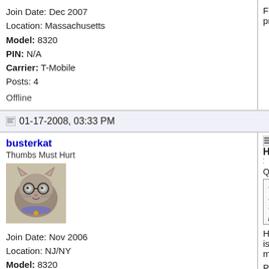Join Date: Dec 2007
Location: Massachusetts
Model: 8320
PIN: N/A
Carrier: T-Mobile
Posts: 4

Offline
For Mac... protected...
01-17-2008, 03:33 PM
busterkat
Thumbs Must Hurt
[Figure (photo): Avatar image of a cartoon cat wearing glasses]
Join Date: Nov 2006
Location: NJ/NY
Model: 8320
OS: 4.5.0.81
Carrier: tmo
Posts: 54
How...
Quote:
Originally...
For
trans...
play...

Here is m...

Plugin M...
startSync...